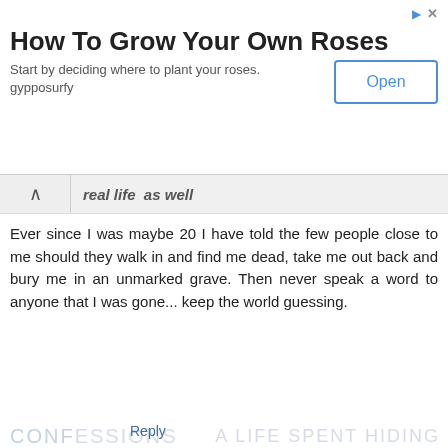[Figure (screenshot): Advertisement banner for 'How To Grow Your Own Roses' with Open button]
real life  as well
Ever since I was maybe 20 I have told the few people close to me should they walk in and find me dead, take me out back and bury me in an unmarked grave. Then never speak a word to anyone that I was gone... keep the world guessing.
Reply
▾ Replies
Lunar  October 22, 2012 at 6:01 AM
I think that's a fascinating concept. I like to do the same at parties, social gatherings, and I've done this in a few relationships... slip out the back, Jack. Death, that's the final exit.